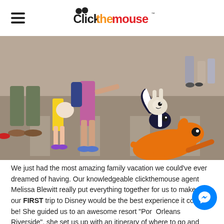Clickthemouse
[Figure (photo): Family at Disney park with animated Bambi, Thumper and Flower characters superimposed on ground in front of them. Adults and children walking on pavement, sunny day.]
We just had the most amazing family vacation we could've ever dreamed of having. Our knowledgeable clickthemouse agent Melissa Blewitt really put everything together for us to make sure our FIRST trip to Disney would be the best experience it could be! She guided us to an awesome resort "Port Orleans Riverside", she set us up with an itinerary of where to go and when...